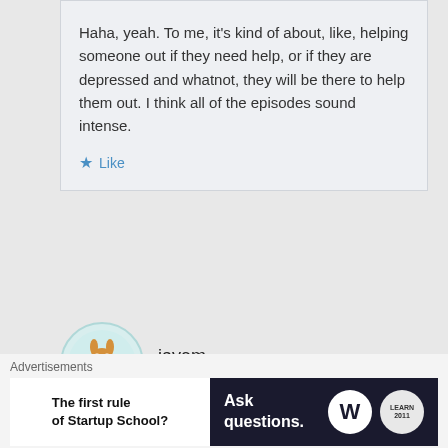Haha, yeah. To me, it's kind of about, like, helping someone out if they need help, or if they are depressed and whatnot, they will be there to help them out. I think all of the episodes sound intense.
Like
jayem
AUGUST 20, 2010 AT 9:01 PM
chasing pavements is a song about missing home,
Advertisements
The first rule of Startup School?
Ask questions.